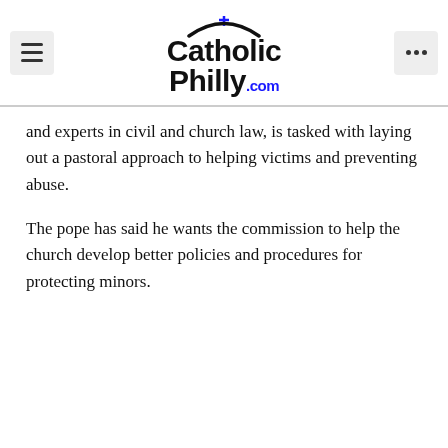[Figure (logo): CatholicPhilly.com logo with cross icon, arc graphic, and blue '.com' text]
and experts in civil and church law, is tasked with laying out a pastoral approach to helping victims and preventing abuse.
The pope has said he wants the commission to help the church develop better policies and procedures for protecting minors.